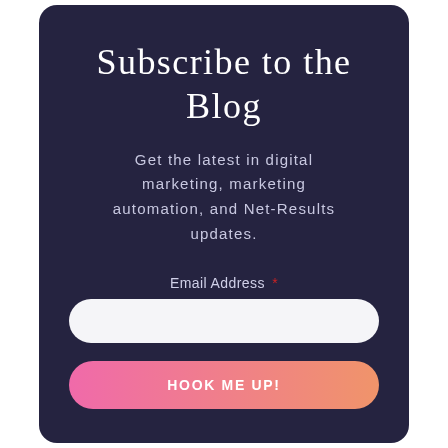Subscribe to the Blog
Get the latest in digital marketing, marketing automation, and Net-Results updates.
Email Address *
HOOK ME UP!